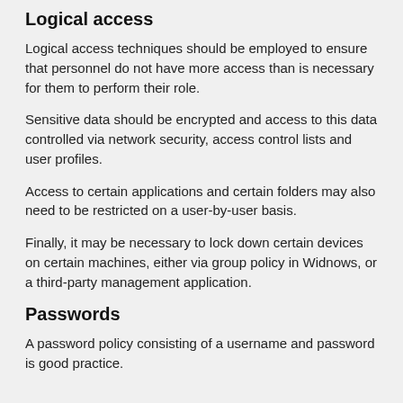Logical access
Logical access techniques should be employed to ensure that personnel do not have more access than is necessary for them to perform their role.
Sensitive data should be encrypted and access to this data controlled via network security, access control lists and user profiles.
Access to certain applications and certain folders may also need to be restricted on a user-by-user basis.
Finally, it may be necessary to lock down certain devices on certain machines, either via group policy in Widnows, or a third-party management application.
Passwords
A password policy consisting of a username and password is good practice.